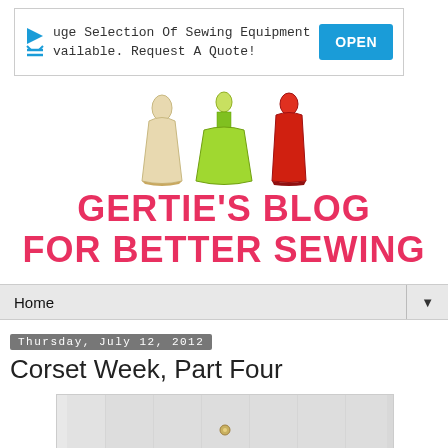[Figure (screenshot): Advertisement banner: 'uge Selection Of Sewing Equipment vailable. Request A Quote!' with blue OPEN button]
[Figure (illustration): Three illustrated dress icons: cream/beige strapless dress, green full-skirted dress, red fitted dress — the Gertie's Blog logo]
GERTIE'S BLOG FOR BETTER SEWING
Home
Thursday, July 12, 2012
Corset Week, Part Four
[Figure (photo): Photo of a white corset garment, partially visible, showing boning channels and a metal clasp/stud]